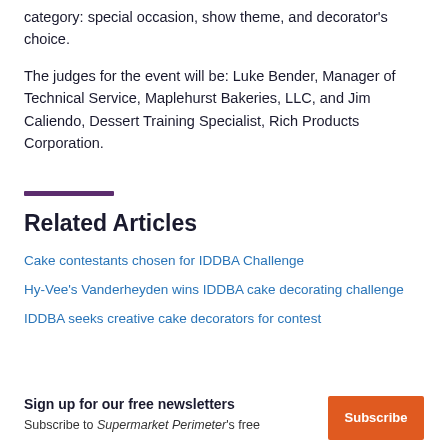category: special occasion, show theme, and decorator's choice.
The judges for the event will be: Luke Bender, Manager of Technical Service, Maplehurst Bakeries, LLC, and Jim Caliendo, Dessert Training Specialist, Rich Products Corporation.
Related Articles
Cake contestants chosen for IDDBA Challenge
Hy-Vee's Vanderheyden wins IDDBA cake decorating challenge
IDDBA seeks creative cake decorators for contest
Sign up for our free newsletters
Subscribe to Supermarket Perimeter's free